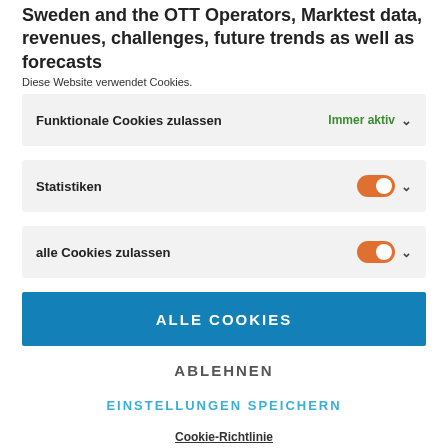Sweden and the OTT Operators, Marktest data, revenues, challenges, future trends as well as forecasts
Diese Website verwendet Cookies.
Funktionale Cookies zulassen   Immer aktiv
Statistiken
alle Cookies zulassen
ALLE COOKIES
ABLEHNEN
EINSTELLUNGEN SPEICHERN
Cookie-Richtlinie